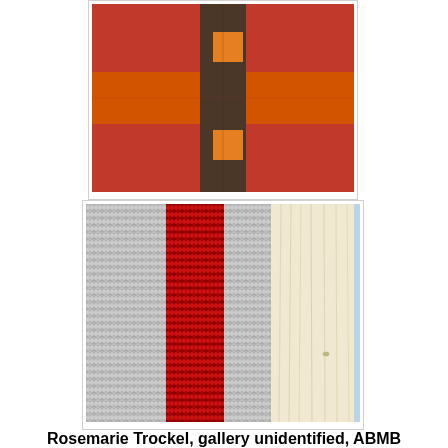[Figure (photo): Abstract painting with orange-red background and a cross-like pattern of dark brown/olive horizontal and vertical bands intersecting, with orange squares at the intersections.]
[Figure (photo): Close-up photograph of a knitted textile artwork showing gray and white knit pattern with a vertical red stripe in the center, and a light-colored wooden board on the right side.]
Rosemarie Trockel, gallery unidentified, ABMB